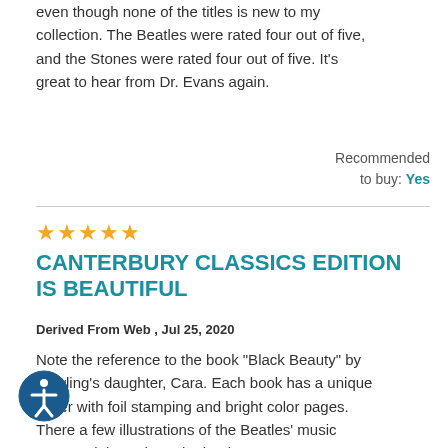even though none of the titles is new to my collection. The Beatles were rated four out of five, and the Stones were rated four out of five. It's great to hear from Dr. Evans again.
Recommended to buy: Yes
CANTERBURY CLASSICS EDITION IS BEAUTIFUL
Derived From Web , Jul 25, 2020
Note the reference to the book "Black Beauty" by Rowling's daughter, Cara. Each book has a unique cover with foil stamping and bright color pages. There a few illustrations of the Beatles' music scattered throughout the book. I